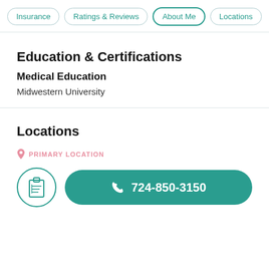Insurance | Ratings & Reviews | About Me | Locations
Education & Certifications
Medical Education
Midwestern University
Locations
PRIMARY LOCATION
724-850-3150